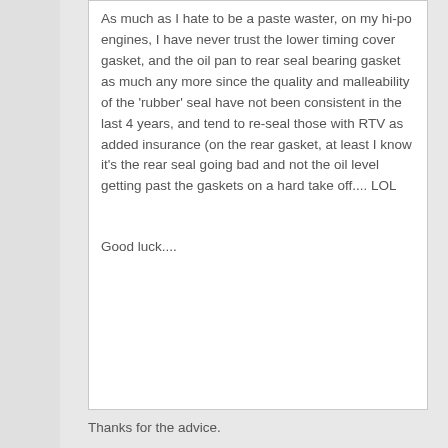As much as I hate to be a paste waster, on my hi-po engines, I have never trust the lower timing cover gasket, and the oil pan to rear seal bearing gasket as much any more since the quality and malleability of the 'rubber' seal have not been consistent in the last 4 years, and tend to re-seal those with RTV as added insurance (on the rear gasket, at least I know it's the rear seal going bad and not the oil level getting past the gaskets on a hard take off.... LOL

Good luck....
Thanks for the advice.

I see what you mean about the spray.....I cant find the permatex